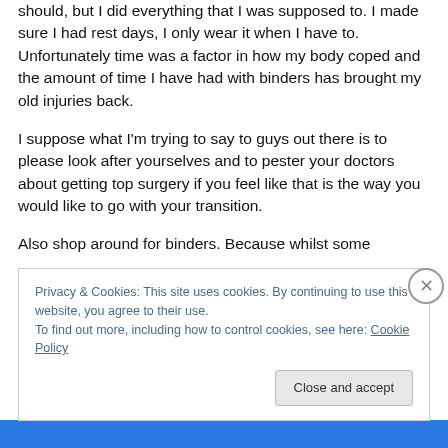should, but I did everything that I was supposed to. I made sure I had rest days, I only wear it when I have to. Unfortunately time was a factor in how my body coped and the amount of time I have had with binders has brought my old injuries back.
I suppose what I'm trying to say to guys out there is to please look after yourselves and to pester your doctors about getting top surgery if you feel like that is the way you would like to go with your transition.
Also shop around for binders. Because whilst some
Privacy & Cookies: This site uses cookies. By continuing to use this website, you agree to their use.
To find out more, including how to control cookies, see here: Cookie Policy